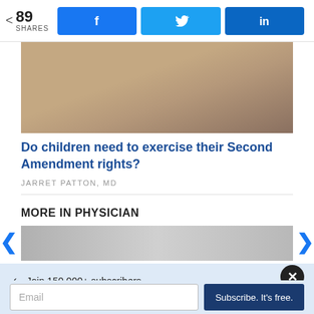[Figure (infographic): Social share bar with share count 89 SHARES and Facebook, Twitter, LinkedIn buttons]
[Figure (photo): Partial photo showing a hand/feet on wooden floor background]
Do children need to exercise their Second Amendment rights?
JARRET PATTON, MD
MORE IN PHYSICIAN
[Figure (photo): Partially visible thumbnail image — grayscale/muted tones]
✓  Join 150,000+ subscribers
✓  Get KevinMD's most popular stories
Email
Subscribe. It's free.